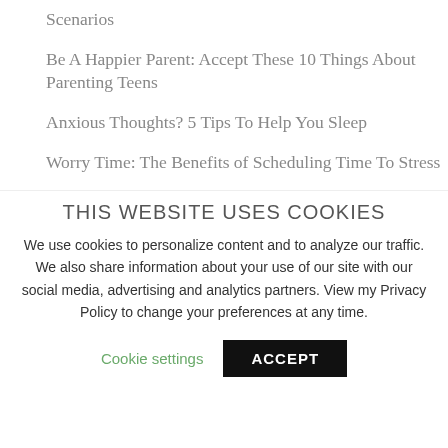Scenarios
Be A Happier Parent: Accept These 10 Things About Parenting Teens
Anxious Thoughts? 5 Tips To Help You Sleep
Worry Time: The Benefits of Scheduling Time To Stress
ARCHIVES
THIS WEBSITE USES COOKIES
We use cookies to personalize content and to analyze our traffic. We also share information about your use of our site with our social media, advertising and analytics partners. View my Privacy Policy to change your preferences at any time.
Cookie settings   ACCEPT